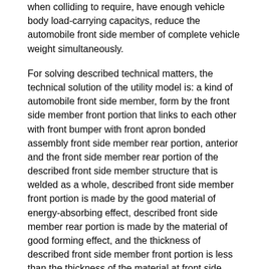when colliding to require, have enough vehicle body load-carrying capacitys, reduce the automobile front side member of complete vehicle weight simultaneously.
For solving described technical matters, the technical solution of the utility model is: a kind of automobile front side member, form by the front side member front portion that links to each other with front bumper with front apron bonded assembly front side member rear portion, anterior and the front side member rear portion of the described front side member structure that is welded as a whole, described front side member front portion is made by the good material of energy-absorbing effect, described front side member rear portion is made by the material of good forming effect, and the thickness of described front side member front portion is less than the thickness of the material at front side member rear portion.
The thickness of the material of described front side member front portion is 1.8 millimeters, and the thickness of the material at described front side member rear portion is 2.2 millimeters.
The material of described front side member front portion